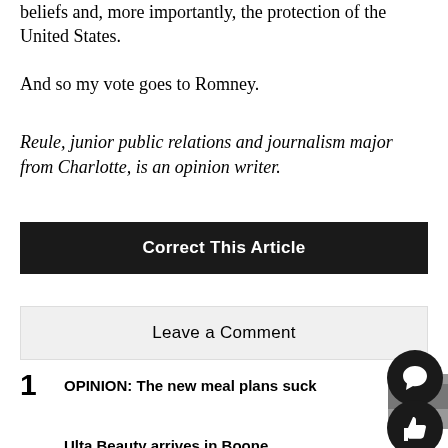beliefs and, more importantly, the protection of the United States.
And so my vote goes to Romney.
Reule, junior public relations and journalism major from Charlotte, is an opinion writer.
Correct This Article
Leave a Comment
1 OPINION: The new meal plans suck
2 Ulta Beauty arrives in Boone